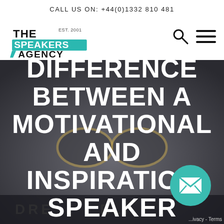CALL US ON: +44(0)1332 810 481
[Figure (logo): The Speakers Agency logo with teal background on SPEAKERS AGENCY text and EST. 2001 tag]
[Figure (illustration): Search icon (magnifying glass) and hamburger menu icon for navigation]
[Figure (photo): Dark background photo of glasses resting on a book/notebook, blurred, serving as hero image background]
DIFFERENCE BETWEEN A MOTIVATIONAL AND INSPIRATIONAL SPEAKER
[Figure (illustration): Teal circular email/envelope icon button in bottom right]
...ivacy - Terms